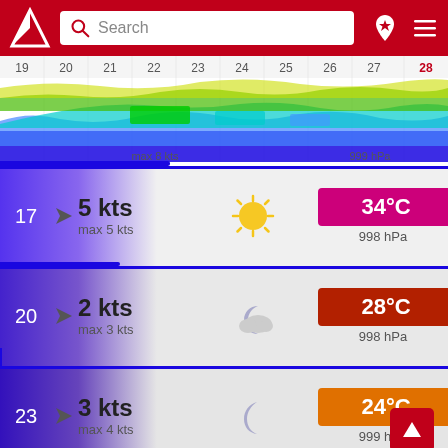[Figure (screenshot): Red navigation header bar with white logo (windsock/arrow icon), search box, location pin icon with star, and hamburger menu]
[Figure (continuous-plot): Wind and weather timeline chart showing colored bands (blue, green, yellow, teal) across dates 19-28, with 'max 8 kts' and '999 hPa' labels]
17   5 kts   max 5 kts   34°C   998 hPa
20   2 kts   max 3 kts   28°C   998 hPa
23   3 kts   max 4 kts   24°C   999 hPa